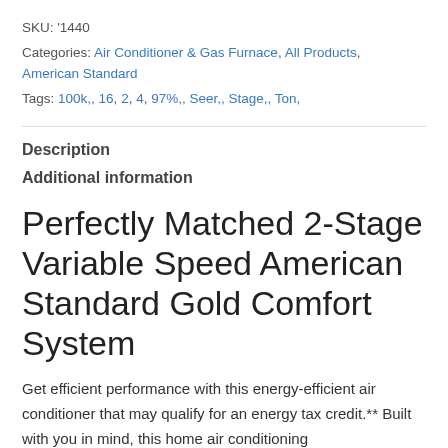SKU: '1440
Categories: Air Conditioner & Gas Furnace, All Products, American Standard
Tags: 100k,, 16, 2, 4, 97%,, Seer,, Stage,, Ton,
Description
Additional information
Perfectly Matched 2-Stage Variable Speed American Standard Gold Comfort System
Get efficient performance with this energy-efficient air conditioner that may qualify for an energy tax credit.** Built with you in mind, this home air conditioning